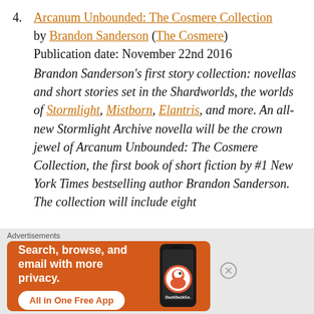4. Arcanum Unbounded: The Cosmere Collection by Brandon Sanderson (The Cosmere)
Publication date: November 22nd 2016
Brandon Sanderson's first story collection: novellas and short stories set in the Shardworlds, the worlds of Stormlight, Mistborn, Elantris, and more. An all-new Stormlight Archive novella will be the crown jewel of Arcanum Unbounded: The Cosmere Collection, the first book of short fiction by #1 New York Times bestselling author Brandon Sanderson. The collection will include eight
Advertisements
[Figure (infographic): DuckDuckGo advertisement banner: orange background with phone image showing DuckDuckGo app. Text: 'Search, browse, and email with more privacy. All in One Free App'. DuckDuckGo logo.]